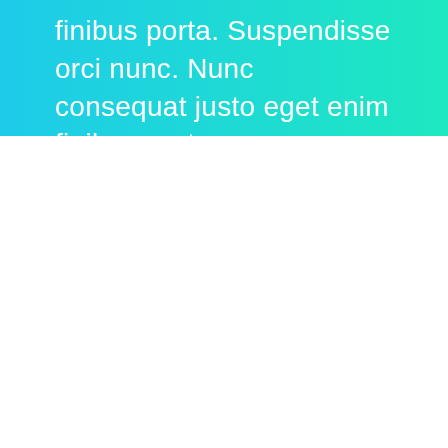finibus porta. Suspendisse orci nunc. Nunc consequat justo eget enim finibus porta.